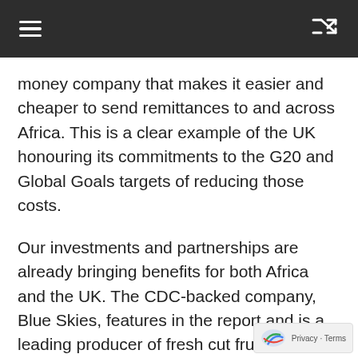Navigation header with menu and shuffle icons
money company that makes it easier and cheaper to send remittances to and across Africa. This is a clear example of the UK honouring its commitments to the G20 and Global Goals targets of reducing those costs.
Our investments and partnerships are already bringing benefits for both Africa and the UK. The CDC-backed company, Blue Skies, features in the report and is a leading producer of fresh cut fruits and juices and is the largest private sector company in Ghana. It sells its produce across Africa, and also trades with UK supermarkets. You can find Blue Skies products in Sainsburys, Waitrose and on Amazon Fresh – a clear demonstration that investing in African companies